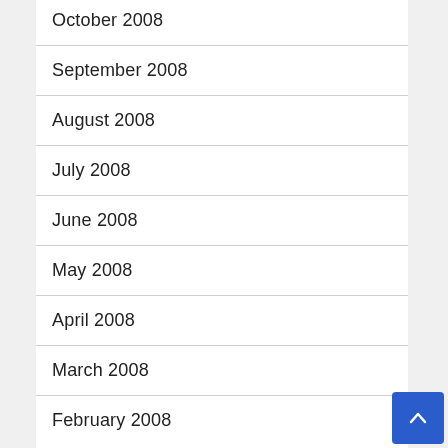October 2008
September 2008
August 2008
July 2008
June 2008
May 2008
April 2008
March 2008
February 2008